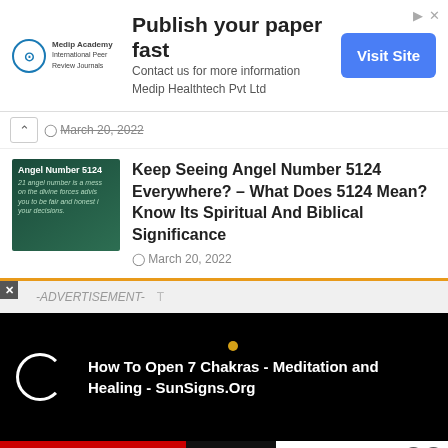[Figure (infographic): Advertisement banner: Medip Academy logo, 'Publish your paper fast', 'Contact us for more information Medip Healthtech Pvt Ltd', blue 'Visit Site' button, with arrow and X icons top right]
March 20, 2022
[Figure (photo): Thumbnail image for Angel Number 5124 article - dark green background with white text]
Keep Seeing Angel Number 5124 Everywhere? – What Does 5124 Mean? Know Its Spiritual And Biblical Significance
March 20, 2022
-ADVERTISEMENT-
[Figure (screenshot): Video player ad on black background: 'How To Open 7 Chakras - Meditation and Healing - SunSigns.Org' with loading circle icon and gold dot]
[Figure (infographic): BitLife game advertisement: red background with sperm icon and BitLife logo, dark middle section with diagonal slash, white section with 'Murder' text and 'Do it!' button in blue, question mark and X close icons]